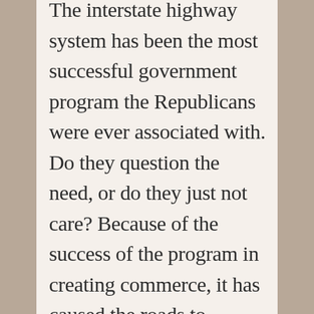The interstate highway system has been the most successful government program the Republicans were ever associated with. Do they question the need, or do they just not care? Because of the success of the program in creating commerce, it has caused the roads to become congested. Congestion slows commerce.